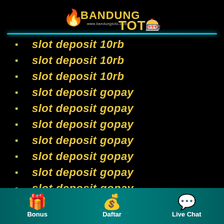BANDUNGTOTO
slot deposit 10rb
slot deposit 10rb
slot deposit 10rb
slot deposit gopay
slot deposit gopay
slot deposit gopay
slot deposit gopay
slot deposit gopay
slot deposit gopay
slot deposit gopay
slot deposit gopay
slot deposit gopay
Bonus  Daftar  Live Chat